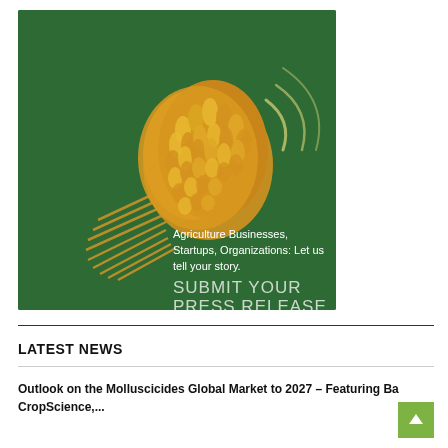[Figure (illustration): Advertisement banner with dark green background showing a wheat megaphone illustration. Text reads: 'Agriculture Businesses, Startups, Organizations: Let us tell your story. SUBMIT YOUR PRESS RELEASE']
LATEST NEWS
Outlook on the Molluscicides Global Market to 2027 – Featuring Ba CropScience,...